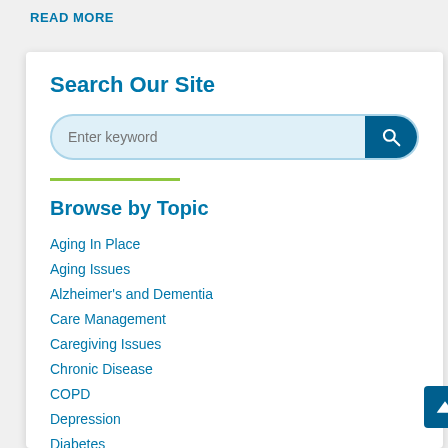READ MORE
Search Our Site
[Figure (screenshot): Search bar with placeholder text 'Enter keyword' and a blue search button with magnifying glass icon]
Browse by Topic
Aging In Place
Aging Issues
Alzheimer's and Dementia
Care Management
Caregiving Issues
Chronic Disease
COPD
Depression
Diabetes